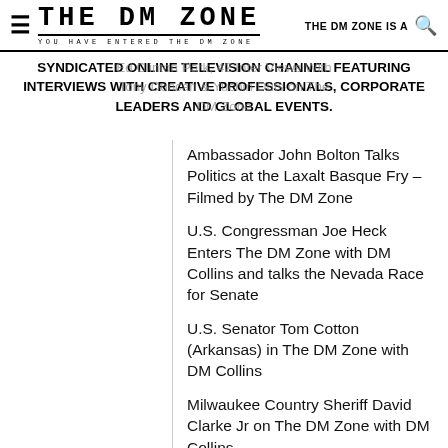THE DM ZONE — YOU HAVE ENTERED THE DM ZONE — THE DM ZONE IS A
SYNDICATED ONLINE TELEVISION CHANNEL FEATURING INTERVIEWS WITH CREATIVE PROFESSIONALS, CORPORATE LEADERS AND GLOBAL EVENTS.
Ed Clinton Park, 42 interviews with Tony Duncan & Yuchin Dutszon, The DM Zone
Ambassador John Bolton Talks Politics at the Laxalt Basque Fry – Filmed by The DM Zone
U.S. Congressman Joe Heck Enters The DM Zone with DM Collins and talks the Nevada Race for Senate
U.S. Senator Tom Cotton (Arkansas) in The DM Zone with DM Collins
Milwaukee Country Sheriff David Clarke Jr on The DM Zone with DM Collins
The DM Zone – Interviews with the Master Artists of ASTA – Annual Show